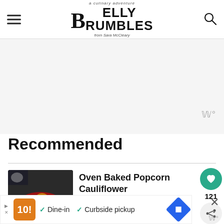a culinary adventure BELLY RUMBLES from Sara McCleary
Recommended
Oven Baked Popcorn Cauliflower
Read More →
121
Dine-in  Curbside pickup